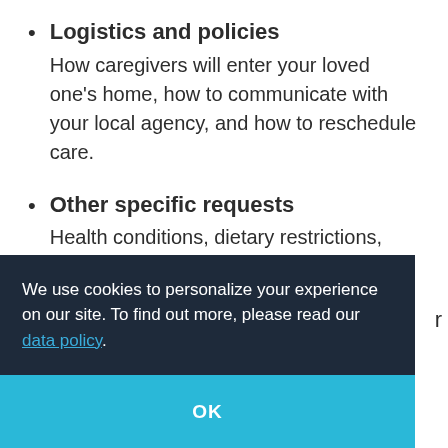Logistics and policies — How caregivers will enter your loved one's home, how to communicate with your local agency, and how to reschedule care.
Other specific requests — Health conditions, dietary restrictions, meal preferences, assisting with errands, transportation to appointments, and more.
We use cookies to personalize your experience on our site. To find out more, please read our data policy.
OK